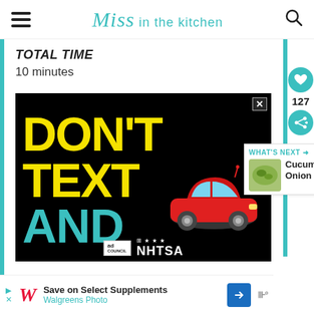Miss in the kitchen
TOTAL TIME
10 minutes
[Figure (infographic): Advertisement: DON'T TEXT AND [drive] - NHTSA public service announcement with yellow and teal text on black background, red cartoon car graphic, ad council and NHTSA logos]
127
WHAT'S NEXT → Cucumber Onion Salad
[Figure (infographic): Walgreens advertisement: Save on Select Supplements, Walgreens Photo, with navigation arrow icon and mute button]